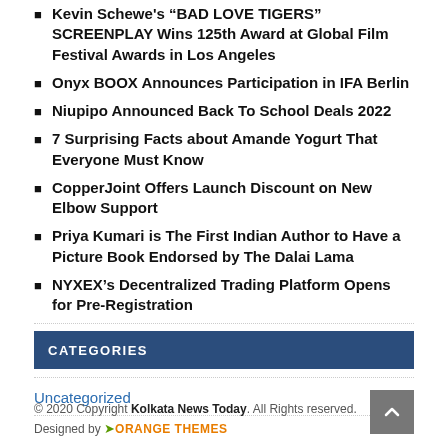Kevin Schewe's “BAD LOVE TIGERS” SCREENPLAY Wins 125th Award at Global Film Festival Awards in Los Angeles
Onyx BOOX Announces Participation in IFA Berlin
Niupipo Announced Back To School Deals 2022
7 Surprising Facts about Amande Yogurt That Everyone Must Know
CopperJoint Offers Launch Discount on New Elbow Support
Priya Kumari is The First Indian Author to Have a Picture Book Endorsed by The Dalai Lama
NYXEX’s Decentralized Trading Platform Opens for Pre-Registration
CATEGORIES
Uncategorized
© 2020 Copyright Kolkata News Today. All Rights reserved. Designed by ORANGE THEMES